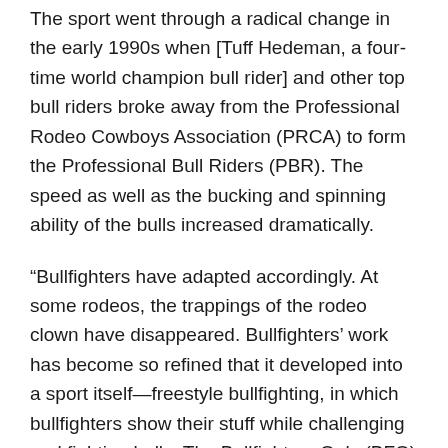The sport went through a radical change in the early 1990s when [Tuff Hedeman, a four-time world champion bull rider] and other top bull riders broke away from the Professional Rodeo Cowboys Association (PRCA) to form the Professional Bull Riders (PBR). The speed as well as the bucking and spinning ability of the bulls increased dramatically.
“Bullfighters have adapted accordingly. At some rodeos, the trappings of the rodeo clown have disappeared. Bullfighters’ work has become so refined that it developed into a sport itself—freestyle bullfighting, in which bullfighters show their stuff while challenging real fighting bulls. The Bullfighters Only (BFO) tour showcases their skills — no bull riders involved. … Judges score fighters on technique and wow factors, including leaps over the bull.